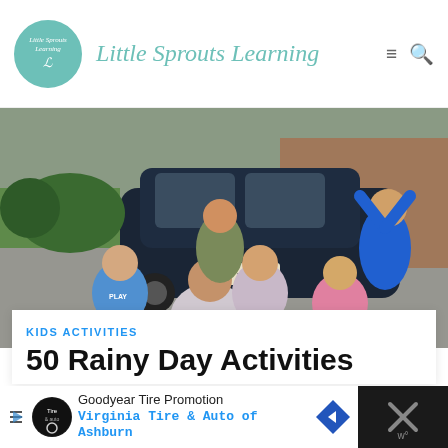Little Sprouts Learning
[Figure (photo): Group of children playing outdoors on a driveway in front of a dark car, grass and brick house visible in background. Several young children are laughing and making faces at the camera.]
KIDS ACTIVITIES
50 Rainy Day Activities
[Figure (screenshot): Advertisement banner: Goodyear Tire Promotion - Virginia Tire & Auto of Ashburn]